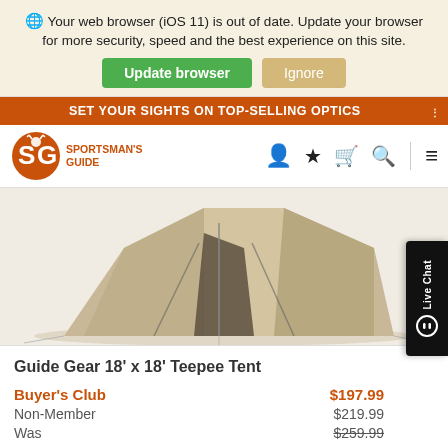Your web browser (iOS 11) is out of date. Update your browser for more security, speed and the best experience on this site.
Update browser | Ignore
SET YOUR SIGHTS ON TOP-SELLING OPTICS
[Figure (logo): Sportsman's Guide logo with orange SG letters and deer icon, with text SPORTSMAN'S GUIDE]
[Figure (photo): Partial view of a beige/tan teepee tent, showing the base and entrance area]
Guide Gear 18' x 18' Teepee Tent
Buyer's Club   $197.99
Non-Member   $219.99
Was   $259.99